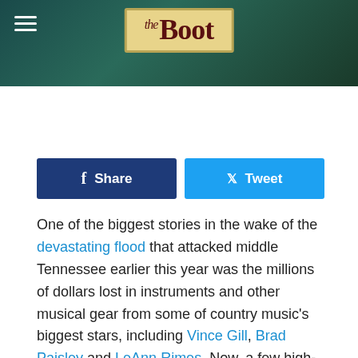the Boot
Share  Tweet
One of the biggest stories in the wake of the devastating flood that attacked middle Tennessee earlier this year was the millions of dollars lost in instruments and other musical gear from some of country music's biggest stars, including Vince Gill, Brad Paisley and LeAnn Rimes. Now, a few high-profile artists are offering some of their most-prized possessions to raise money to continue to help in the recovery efforts.
Brad, Vince and Keith Urban have joined Peter Frampton, Pam